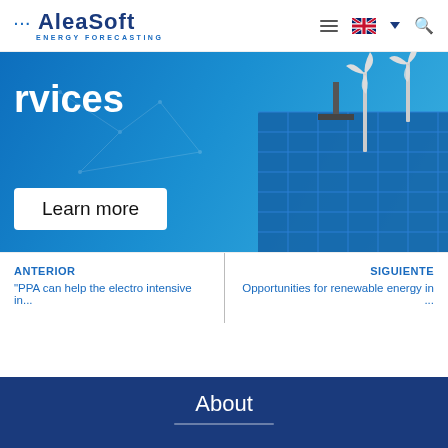[Figure (logo): AleaSoft Energy Forecasting logo with blue dots and text]
[Figure (screenshot): AleaSoft website hero banner showing 'rvices' text (partial 'Services'), a Learn more button, wind turbines and solar panel image on blue background]
ANTERIOR
"PPA can help the electro intensive in...
SIGUIENTE
Opportunities for renewable energy in ...
About